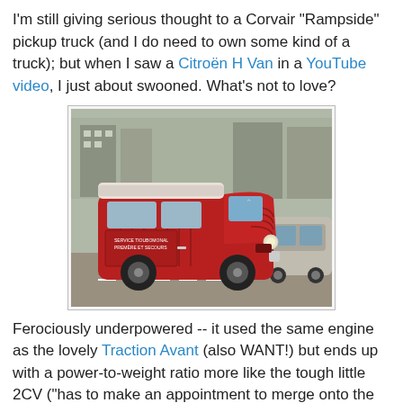I'm still giving serious thought to a Corvair "Rampside" pickup truck (and I do need to own some kind of a truck); but when I saw a Citroën H Van in a YouTube video, I just about swooned. What's not to love?
[Figure (photo): A red Citroën H Van parked on a street, shown from a front-side angle. The van has a distinctive corrugated body and rounded front. Other parked cars are visible in the background.]
Ferociously underpowered -- it used the same engine as the lovely Traction Avant (also WANT!) but ends up with a power-to-weight ratio more like the tough little 2CV ("has to make an appointment to merge onto the freeway") -- surviving examples appear to be remarkably durable. Camper versions have carried tourists all over the globe, trundling gamely along where drivers of more powerful vehicles might fear to venture.